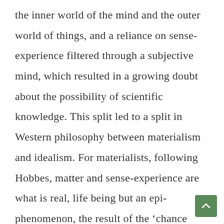the inner world of the mind and the outer world of things, and a reliance on sense-experience filtered through a subjective mind, which resulted in a growing doubt about the possibility of scientific knowledge. This split led to a split in Western philosophy between materialism and idealism. For materialists, following Hobbes, matter and sense-experience are what is real, life being but an epi-phenomenon, the result of the ‘chance